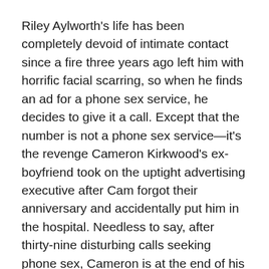Riley Aylworth's life has been completely devoid of intimate contact since a fire three years ago left him with horrific facial scarring, so when he finds an ad for a phone sex service, he decides to give it a call. Except that the number is not a phone sex service—it's the revenge Cameron Kirkwood's ex-boyfriend took on the uptight advertising executive after Cam forgot their anniversary and accidentally put him in the hospital. Needless to say, after thirty-nine disturbing calls seeking phone sex, Cameron is at the end of his tether and yells at his fortieth caller. What he doesn't expect is for Riley to hit redial and yell right back.
The argument helps both Cameron and Riley vent about their issues, and when they've calmed down, they decide to exchange numbers and talk again. From this decision springs a friendship that over time grows into something more.